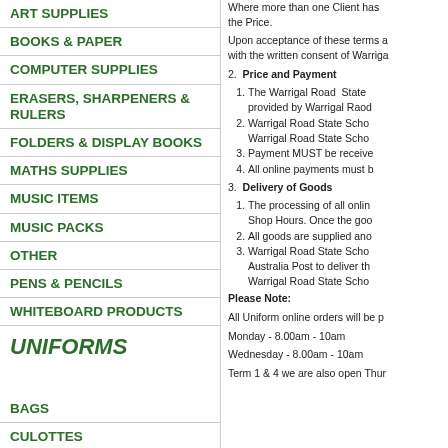ART SUPPLIES
BOOKS & PAPER
COMPUTER SUPPLIES
ERASERS, SHARPENERS & RULERS
FOLDERS & DISPLAY BOOKS
MATHS SUPPLIES
MUSIC ITEMS
MUSIC PACKS
OTHER
PENS & PENCILS
WHITEBOARD PRODUCTS
UNIFORMS
BAGS
CULOTTES
Where more than one Client has the Price.
Upon acceptance of these terms a with the written consent of Warriga
2. Price and Payment
1. The Warrigal Road State provided by Warrigal Raod
2. Warrigal Road State Scho Warrigal Road State Scho
3. Payment MUST be receive
4. All online payments must b
3. Delivery of Goods
1. The processing of all onlin Shop Hours. Once the goo
2. All goods are supplied ano
3. Warrigal Road State Scho Australia Post to deliver th Warrigal Road State Scho
Please Note:
All Uniform online orders will be p
Monday - 8.00am - 10am
Wednesday - 8.00am - 10am
Term 1 & 4 we are also open Thur